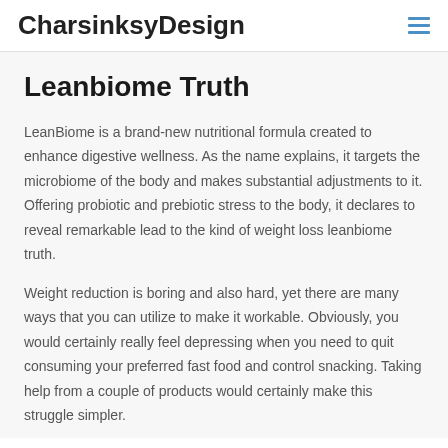CharsinksyDesign
Leanbiome Truth
LeanBiome is a brand-new nutritional formula created to enhance digestive wellness. As the name explains, it targets the microbiome of the body and makes substantial adjustments to it. Offering probiotic and prebiotic stress to the body, it declares to reveal remarkable lead to the kind of weight loss leanbiome truth.
Weight reduction is boring and also hard, yet there are many ways that you can utilize to make it workable. Obviously, you would certainly really feel depressing when you need to quit consuming your preferred fast food and control snacking. Taking help from a couple of products would certainly make this struggle simpler.